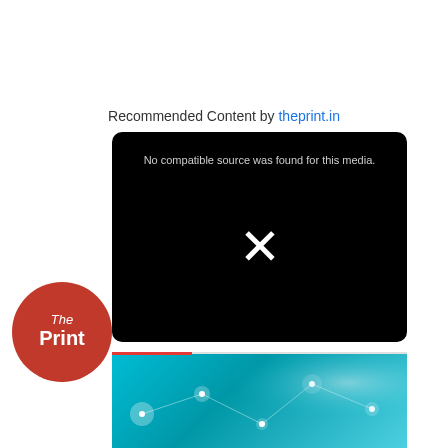Recommended Content by theprint.in
[Figure (screenshot): Black video player with error message 'No compatible source was found for this media.' and a white X icon in the center]
[Figure (logo): The Print logo - circular orange badge with 'The Print' text and a speech bubble tail]
[Figure (photo): Cyan/blue technology background with glowing network nodes and connection lines, partially visible at the bottom]